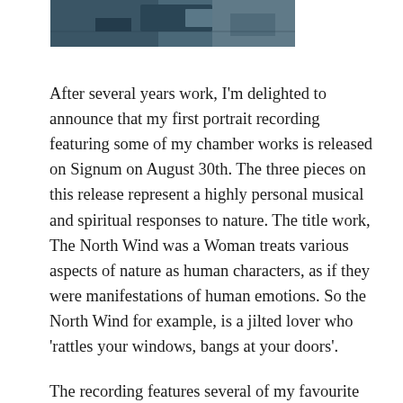[Figure (photo): Partial photograph visible at top of page, appears to show an outdoor or nature scene with dark tones]
After several years work, I'm delighted to announce that my first portrait recording featuring some of my chamber works is released on Signum on August 30th. The three pieces on this release represent a highly personal musical and spiritual responses to nature. The title work, The North Wind was a Woman treats various aspects of nature as human characters, as if they were manifestations of human emotions. So the North Wind for example, is a jilted lover who 'rattles your windows, bangs at your doors'.
The recording features several of my favourite artists - rock-star mandonlinist Avi Avital and the amazing Dover Quartet feature on Cymbeline; my dear friends at Camerata Pacifica recorded the